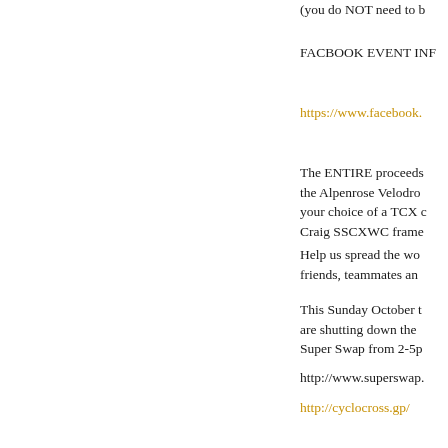(you do NOT need to b
FACBOOK EVENT INF
https://www.facebook.
The ENTIRE proceeds the Alpenrose Velodro your choice of a TCX c Craig SSCXWC frame
Help us spread the wo friends, teammates an
This Sunday October t are shutting down the Super Swap from 2-5p
http://www.superswap.
http://cyclocross.gp/
There will be a wood-f from Tastebud farm av
http://tastebudfarm.cor
***
See you all this Sunda